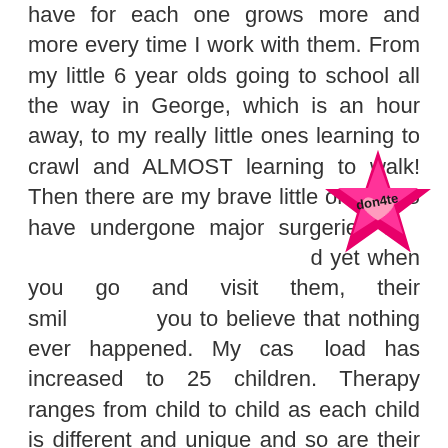have for each one grows more and more every time I work with them. From my little 6 year olds going to school all the way in George, which is an hour away, to my really little ones learning to crawl and ALMOST learning to walk! Then there are my brave little ones who have undergone major surgeries that happened yet when you go and visit them, their smile you to believe that nothing ever happened. My case load has increased to 25 children. Therapy ranges from child to child as each child is different and unique and so are their needs. Therapy is done either- twice a week, once a week, every second week or once a month. At the moment all therapy is done at each child's home which has its pro's and con's. Working for an NGO means that I often do 'things' I wouldn't normal have to do as an OT, like handle petty cash!!! But I really do believe that it makes me a better therapist because I learn to truly advocate and
[Figure (illustration): A hot pink star shape with a pink heart in the center and the word 'donate' written across the middle in black text.]